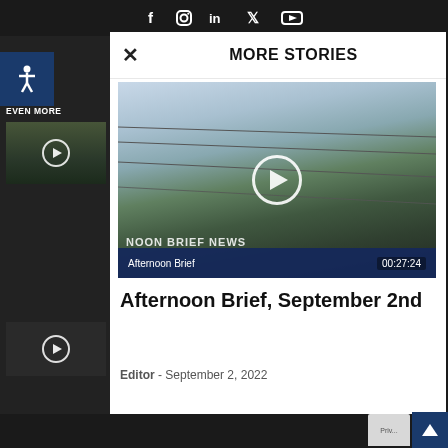f  Instagram  in  Twitter  YouTube
EVEN MORE
[Figure (screenshot): Video thumbnail on left sidebar showing dark tree silhouette with play button]
[Figure (screenshot): Second video thumbnail on left sidebar with play button]
MORE STORIES
[Figure (screenshot): Video thumbnail showing grapevines against sky with power lines and play button overlay. Bottom bar shows 'Afternoon Brief' label and duration 00:27:24]
Afternoon Brief, September 2nd
Editor - September 2, 2022